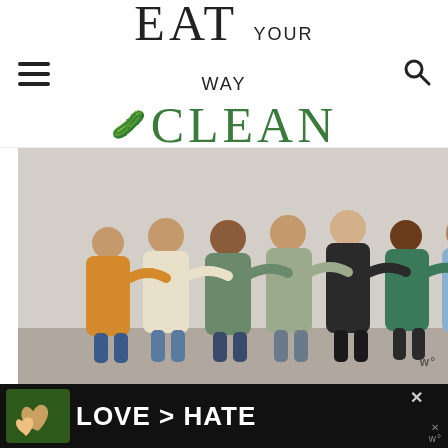EAT YOUR WAY CLEAN
[Figure (photo): Group of people standing in a line from behind with arms around each other, diverse group]
Here are 5 Ways to Use Fewer Paper Towels
Switch to Reusable Paper Towels (and napkins and rags)
[Figure (photo): Advertisement banner: LOVE > HATE with hands forming a heart shape]